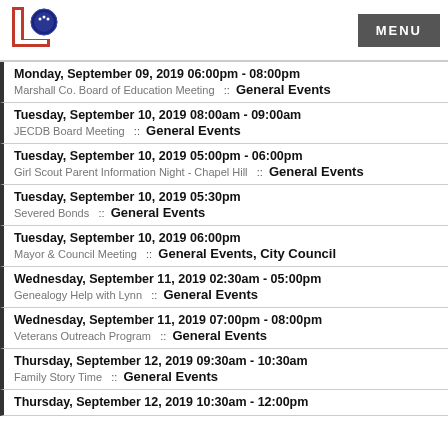Logo and MENU
Monday, September 09, 2019 06:00pm - 08:00pm
Marshall Co. Board of Education Meeting :: General Events
Tuesday, September 10, 2019 08:00am - 09:00am
JECDB Board Meeting :: General Events
Tuesday, September 10, 2019 05:00pm - 06:00pm
Girl Scout Parent Information Night - Chapel Hill :: General Events
Tuesday, September 10, 2019 05:30pm
Severed Bonds :: General Events
Tuesday, September 10, 2019 06:00pm
Mayor & Council Meeting :: General Events, City Council
Wednesday, September 11, 2019 02:30am - 05:00pm
Genealogy Help with Lynn :: General Events
Wednesday, September 11, 2019 07:00pm - 08:00pm
Veterans Outreach Program :: General Events
Thursday, September 12, 2019 09:30am - 10:30am
Family Story Time :: General Events
Thursday, September 12, 2019 10:30am - 12:00pm